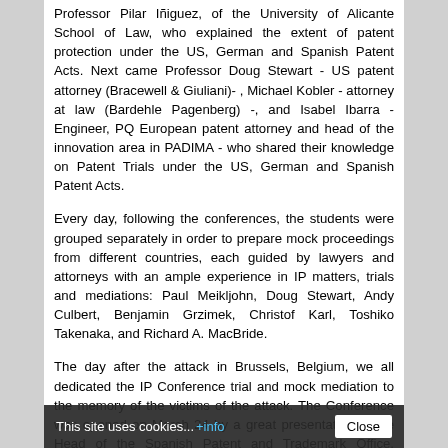Professor Pilar Iñiguez, of the University of Alicante School of Law, who explained the extent of patent protection under the US, German and Spanish Patent Acts. Next came Professor Doug Stewart - US patent attorney (Bracewell & Giuliani)- , Michael Kobler - attorney at law (Bardehle Pagenberg) -, and Isabel Ibarra - Engineer, PQ European patent attorney and head of the innovation area in PADIMA - who shared their knowledge on Patent Trials under the US, German and Spanish Patent Acts.
Every day, following the conferences, the students were grouped separately in order to prepare mock proceedings from different countries, each guided by lawyers and attorneys with an ample experience in IP matters, trials and mediations: Paul Meikljohn, Doug Stewart, Andy Culbert, Benjamin Grzimek, Christof Karl, Toshiko Takenaka, and Richard A. MacBride.
The day after the attack in Brussels, Belgium, we all dedicated the IP Conference trial and mock mediation to the memory of the victims of the attack. The Conference was opened on March 24 by a great presentation of the Head of the Spanish Patent and Trademark Office, EUIPO, Luis Berenguer, who pointed out that our IP Conference was